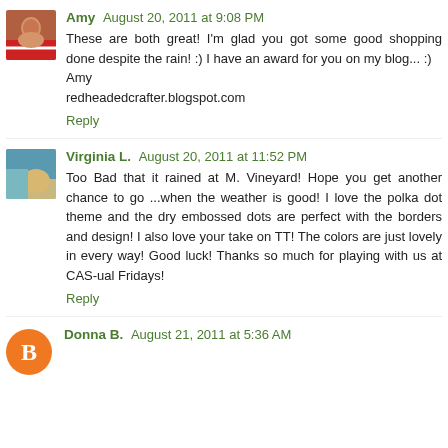Amy  August 20, 2011 at 9:08 PM
These are both great! I'm glad you got some good shopping done despite the rain! :) I have an award for you on my blog... :)
Amy
redheadedcrafter.blogspot.com
Reply
Virginia L.  August 20, 2011 at 11:52 PM
Too Bad that it rained at M. Vineyard! Hope you get another chance to go ...when the weather is good! I love the polka dot theme and the dry embossed dots are perfect with the borders and design! I also love your take on TT! The colors are just lovely in every way! Good luck! Thanks so much for playing with us at CAS-ual Fridays!
Reply
Donna B.  August 21, 2011 at 5:36 AM